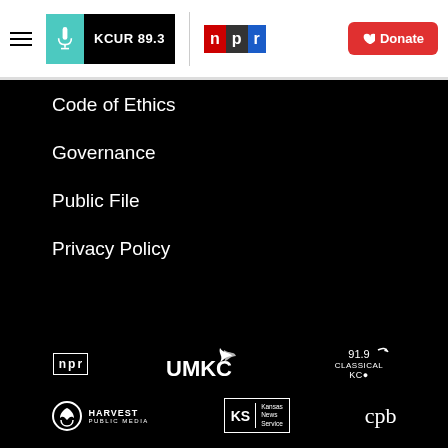[Figure (logo): KCUR 89.3 logo with teal microphone icon, NPR logo with colored letter blocks, and red Donate button with heart icon]
Code of Ethics
Governance
Public File
Privacy Policy
[Figure (logo): NPR small logo (outlined box with 'npr' text)]
[Figure (logo): UMKC logo with stylized text and wing graphic]
[Figure (logo): 91.9 Classical KC logo]
[Figure (logo): Harvest Public Media logo with circle leaf icon]
[Figure (logo): Kansas News Service logo with KS box]
[Figure (logo): CPB (Corporation for Public Broadcasting) logo]
[Figure (other): Audio player bar showing KCUR - BBC World Service with play button and waveform icon]